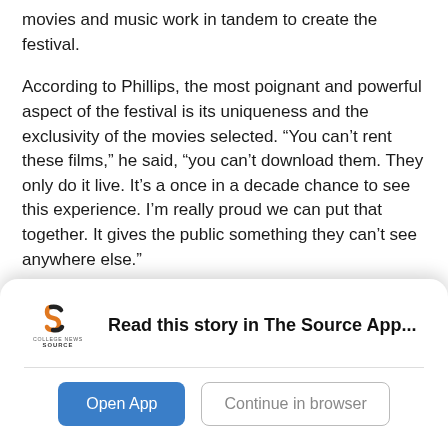movies and music work in tandem to create the festival.
According to Phillips, the most poignant and powerful aspect of the festival is its uniqueness and the exclusivity of the movies selected. “You can’t rent these films,” he said, “you can’t download them. They only do it live. It’s a once in a decade chance to see this experience. I’m really proud we can put that together. It gives the public something they can’t see anywhere else.”
[Figure (logo): College News Source logo with stylized orange and black S icon and text COLLEGE NEWS SOURCE]
Read this story in The Source App...
Open App
Continue in browser